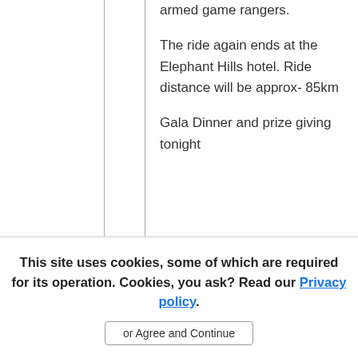armed game rangers. The ride again ends at the Elephant Hills hotel. Ride distance will be approx- 85km Gala Dinner and prize giving tonight
This site uses cookies, some of which are required for its operation. Cookies, you ask? Read our Privacy policy.
or Agree and Continue